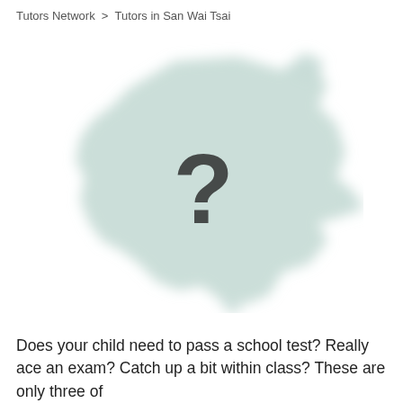Tutors Network  >  Tutors in San Wai Tsai
[Figure (map): A blurred light-teal map shape resembling a geographic region, with a large dark question mark centered on it, indicating unknown or hidden location data.]
Does your child need to pass a school test? Really ace an exam? Catch up a bit within class? These are only three of